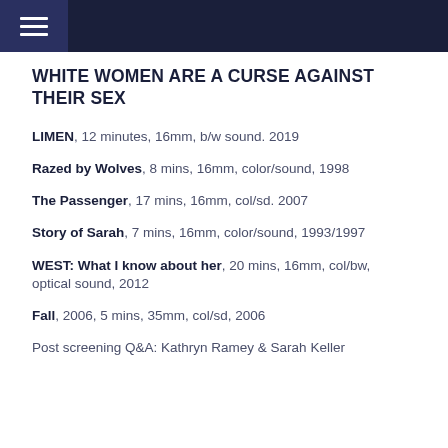WHITE WOMEN ARE A CURSE AGAINST THEIR SEX
LIMEN, 12 minutes, 16mm, b/w sound. 2019
Razed by Wolves, 8 mins, 16mm, color/sound, 1998
The Passenger, 17 mins, 16mm, col/sd. 2007
Story of Sarah, 7 mins, 16mm, color/sound, 1993/1997
WEST: What I know about her, 20 mins, 16mm, col/bw, optical sound, 2012
Fall, 2006, 5 mins, 35mm, col/sd, 2006
Post screening Q&A: Kathryn Ramey & Sarah Keller